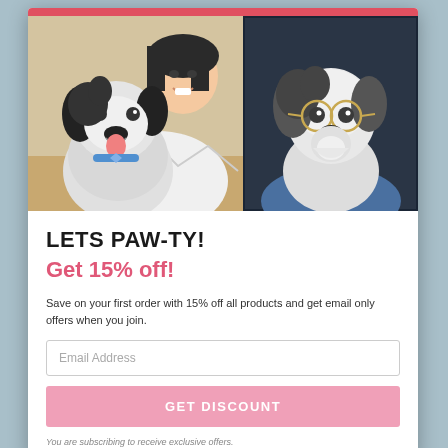[Figure (photo): Popup modal with photo of a smiling person holding a fluffy black and white dog on the left, and on the right a portrait-style photo of the same dog wearing round glasses and a colorful outfit, displayed on a dark background canvas.]
LETS PAW-TY!
Get 15% off!
Save on your first order with 15% off all products and get email only offers when you join.
Email Address
GET DISCOUNT
You are subscribing to receive exclusive offers.